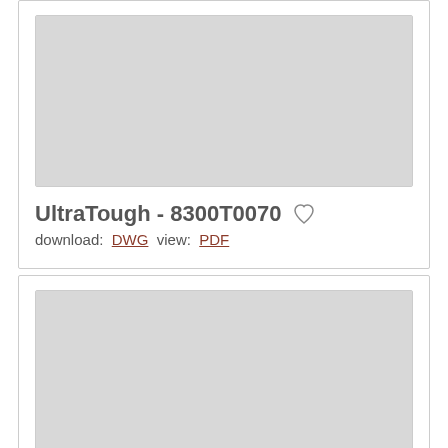[Figure (schematic): Gray placeholder image for UltraTough 8300T0070 engineering drawing thumbnail]
UltraTough - 8300T0070
download: DWG  view: PDF
[Figure (schematic): Gray placeholder image for second product engineering drawing thumbnail]